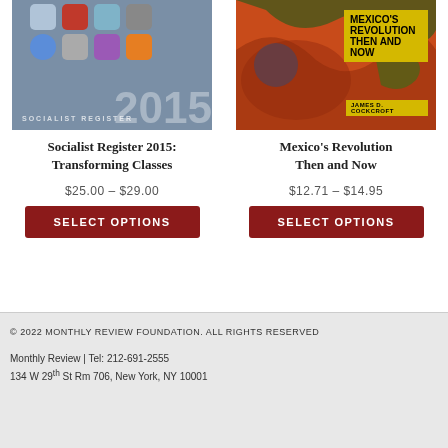[Figure (illustration): Book cover: Socialist Register 2015 with gray background showing app icons and large '2015' text]
Socialist Register 2015: Transforming Classes
$25.00 – $29.00
SELECT OPTIONS
[Figure (illustration): Book cover: Mexico's Revolution Then and Now by James D. Cockcroft, orange/red artistic background with yellow title box]
Mexico's Revolution Then and Now
$12.71 – $14.95
SELECT OPTIONS
© 2022 MONTHLY REVIEW FOUNDATION. ALL RIGHTS RESERVED

Monthly Review | Tel: 212-691-2555
134 W 29th St Rm 706, New York, NY 10001